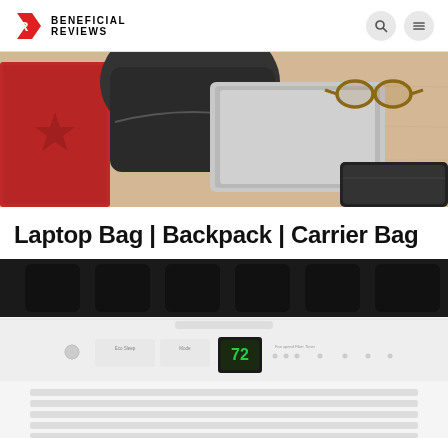BENEFICIAL REVIEWS
[Figure (photo): Top-down flat lay photo of a desk with a black laptop bag/backpack open, a silver laptop, a red notebook, round tortoiseshell eyeglasses, and a black wallet on a light wood surface]
Laptop Bag | Backpack | Carrier Bag
[Figure (photo): Close-up front view of a white air conditioner unit showing the top vent grille with black louvers, a control panel with buttons and a green digital display showing '72', and bottom horizontal vent slats]